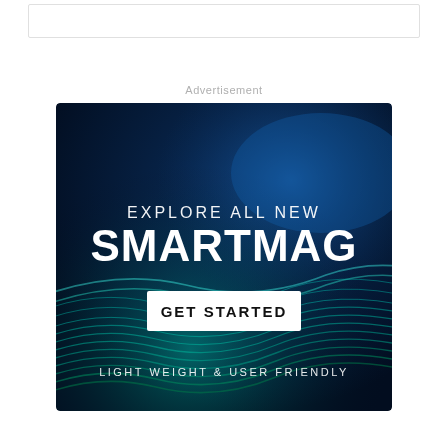Advertisement
[Figure (illustration): Advertisement banner for SmartMag. Dark navy blue background with glowing blue/teal wave patterns. Text reads 'EXPLORE ALL NEW SMARTMAG' with a white 'GET STARTED' button and tagline 'LIGHT WEIGHT & USER FRIENDLY'.]